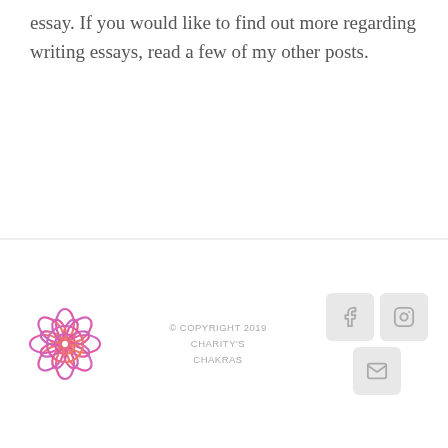essay. If you would like to find out more regarding writing essays, read a few of my other posts.
© COPYRIGHT 2019 CHARITY'S CHAKRAS